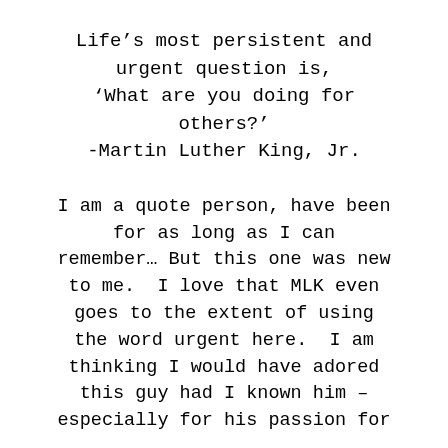Life’s most persistent and urgent question is, ‘What are you doing for others?’ -Martin Luther King, Jr.
I am a quote person, have been for as long as I can remember… But this one was new to me.  I love that MLK even goes to the extent of using the word urgent here.  I am thinking I would have adored this guy had I known him – especially for his passion for